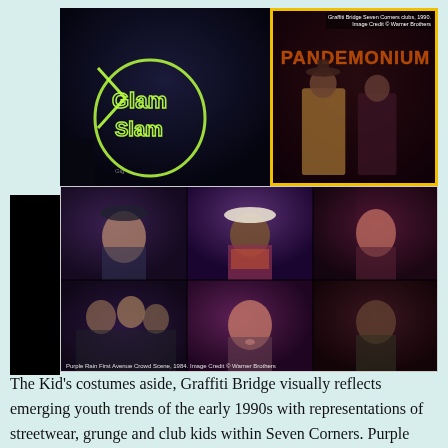[Figure (photo): Two stacked film screenshots. Top row: left image shows 'Glam Slam' neon sign in green/yellow neon, dark club interior; right image (with yellow border) shows 'Pandemonium' in orange neon with two figures in foreground, captioned 'Graffiti Bridge Seven Corners clubs, 1990. Image Credit © Warner Brothers'. Bottom image is a 3x2 collage of close-up crowd/character faces from a nightclub scene with purple and magenta lighting, captioned 'Purple Rain First Avenue Crowd Scene, 1984. Image Credit © Warner Brothers'.]
The Kid's costumes aside, Graffiti Bridge visually reflects emerging youth trends of the early 1990s with representations of streetwear, grunge and club kids within Seven Corners. Purple scholar Scott Woods states that Prince's multiple reinventions were 'accessorised with new